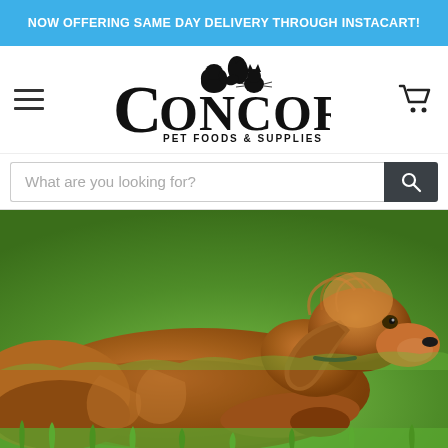NOW OFFERING SAME DAY DELIVERY THROUGH INSTACART!
[Figure (logo): Concord Pet Foods & Supplies logo with horse, dog, and cat illustration. Tagline: For Everything Your Pet Needs]
What are you looking for?
[Figure (photo): A golden/reddish long-haired dog (Cocker Spaniel type) lying on green grass, facing right]